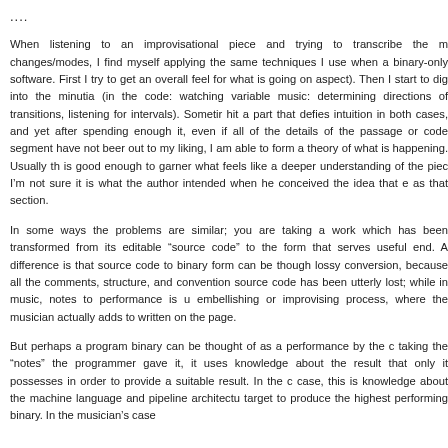....
When listening to an improvisational piece and trying to transcribe the m changes/modes, I find myself applying the same techniques I use when a binary-only software. First I try to get an overall feel for what is going on aspect). Then I start to dig into the minutia (in the code: watching variable music: determining directions of transitions, listening for intervals). Sometir hit a part that defies intuition in both cases, and yet after spending enough it, even if all of the details of the passage or code segment have not beer out to my liking, I am able to form a theory of what is happening. Usually th is good enough to garner what feels like a deeper understanding of the piec I'm not sure it is what the author intended when he conceived the idea that e as that section.
In some ways the problems are similar; you are taking a work which has been transformed from its editable “source code” to the form that serves useful end. A difference is that source code to binary form can be though lossy conversion, because all the comments, structure, and convention source code has been utterly lost; while in music, notes to performance is u embellishing or improvising process, where the musician actually adds to written on the page.
But perhaps a program binary can be thought of as a performance by the c taking the “notes” the programmer gave it, it uses knowledge about the result that only it possesses in order to provide a suitable result. In the c case, this is knowledge about the machine language and pipeline architectu target to produce the highest performing binary. In the musician’s case